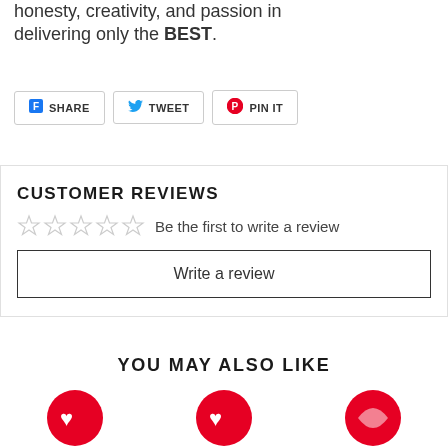honesty, creativity, and passion in delivering only the BEST.
SHARE   TWEET   PIN IT
CUSTOMER REVIEWS
☆☆☆☆☆  Be the first to write a review
Write a review
YOU MAY ALSO LIKE